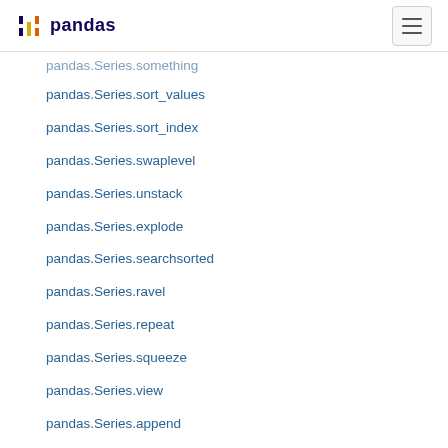pandas
pandas.Series.sort_values
pandas.Series.sort_index
pandas.Series.swaplevel
pandas.Series.unstack
pandas.Series.explode
pandas.Series.searchsorted
pandas.Series.ravel
pandas.Series.repeat
pandas.Series.squeeze
pandas.Series.view
pandas.Series.append
pandas.Series.compare
pandas.Series.replace